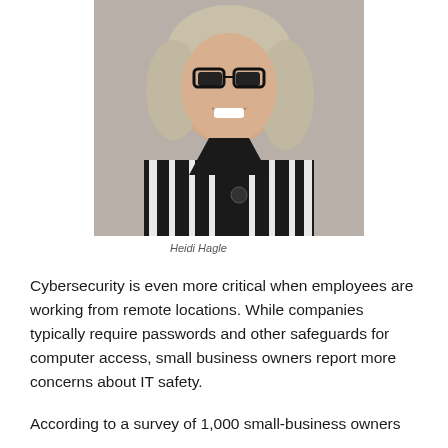[Figure (photo): Headshot portrait of a woman with gray-blonde wavy hair and glasses, wearing a black and white striped top, smiling against a gray background. Identified as Heidi Hagle.]
Heidi Hagle
Cybersecurity is even more critical when employees are working from remote locations. While companies typically require passwords and other safeguards for computer access, small business owners report more concerns about IT safety.
According to a survey of 1,000 small-business owners